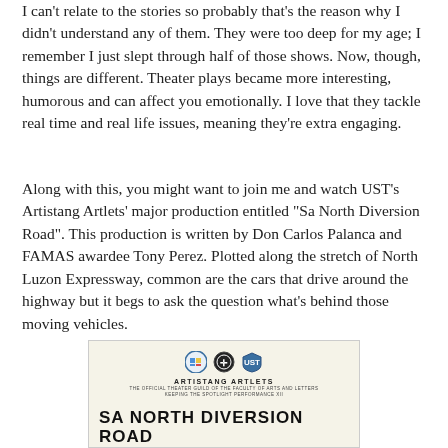I can't relate to the stories so probably that's the reason why I didn't understand any of them. They were too deep for my age; I remember I just slept through half of those shows. Now, though, things are different. Theater plays became more interesting, humorous and can affect you emotionally. I love that they tackle real time and real life issues, meaning they're extra engaging.
Along with this, you might want to join me and watch UST's Artistang Artlets' major production entitled "Sa North Diversion Road". This production is written by Don Carlos Palanca and FAMAS awardee Tony Perez. Plotted along the stretch of North Luzon Expressway, common are the cars that drive around the highway but it begs to ask the question what's behind those moving vehicles.
[Figure (other): Promotional poster for 'Sa North Diversion Road' by UST Artistang Artlets. Shows organization logos, organization name 'ARTISTANG ARTLETS', subtitle text 'THE OFFICIAL THEATER GUILD OF THE FACULTY OF ARTS AND LETTERS', 'KEEPING THE SPOTLIGHT PERFORMANCE XII', and large bold title 'SA NORTH DIVERSION ROAD', with 'NI TONY PEREZ' credit.]